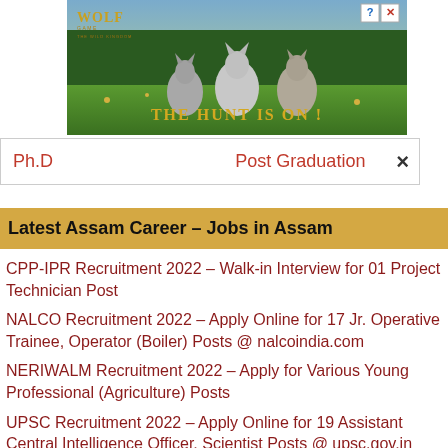[Figure (photo): Wolf Game advertisement banner with wolves in a forest scene and text 'THE HUNT IS ON!']
Ph.D    Post Graduation    ×
Latest Assam Career – Jobs in Assam
CPP-IPR Recruitment 2022 – Walk-in Interview for 01 Project Technician Post
NALCO Recruitment 2022 – Apply Online for 17 Jr. Operative Trainee, Operator (Boiler) Posts @ nalcoindia.com
NERIWALM Recruitment 2022 – Apply for Various Young Professional (Agriculture) Posts
UPSC Recruitment 2022 – Apply Online for 19 Assistant Central Intelligence Officer, Scientist Posts @ upsc.gov.in